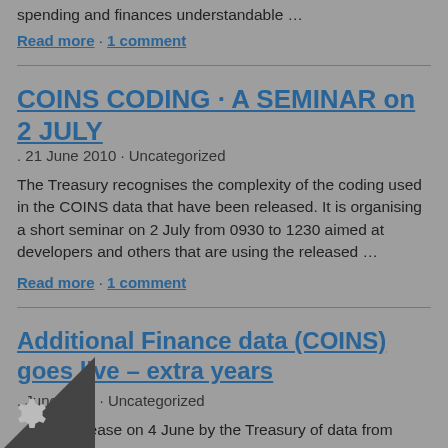spending and finances understandable …
Read more · 1 comment
COINS CODING - A SEMINAR on 2 JULY
. 21 June 2010 - Uncategorized
The Treasury recognises the complexity of the coding used in the COINS data that have been released. It is organising a short seminar on 2 July from 0930 to 1230 aimed at developers and others that are using the released …
Read more · 1 comment
Additional Finance data (COINS) goes live – extra years
. June 2010 · Uncategorized
g the release on 4 June by the Treasury of data from